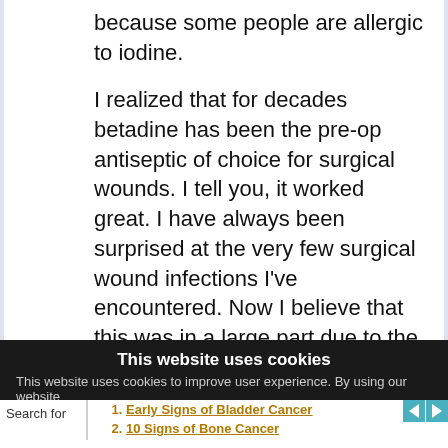because some people are allergic to iodine.
I realized that for decades betadine has been the pre-op antiseptic of choice for surgical wounds. I tell you, it worked great. I have always been surprised at the very few surgical wound infections I've encountered. Now I believe that this was in a large part due to the effectiveness of the Iodine.
It seems that the body will absorb the
This website uses cookies
This website uses cookies to improve user experience. By using our website
Search for
1. Early Signs of Bladder Cancer
2. 10 Signs of Bone Cancer